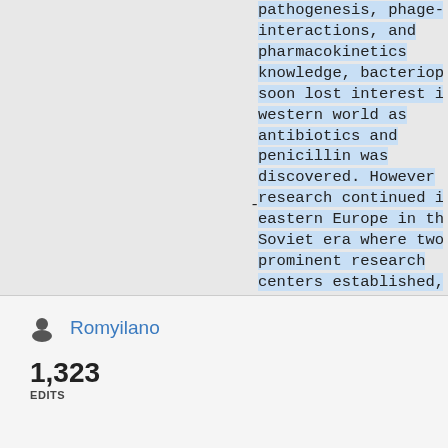pathogenesis, phage-host interactions, and pharmacokinetics knowledge, bacteriophages soon lost interest in the western world as antibiotics and penicillin was discovered. However research continued in the eastern Europe in the Soviet era where two prominent research centers established, The
Romyilano
1,323 EDITS